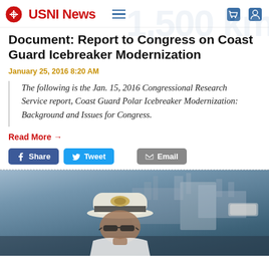USNI News
Document: Report to Congress on Coast Guard Icebreaker Modernization
January 25, 2016 8:20 AM
The following is the Jan. 15, 2016 Congressional Research Service report, Coast Guard Polar Icebreaker Modernization: Background and Issues for Congress.
Read More →
[Figure (screenshot): Social sharing buttons: Facebook Share, Twitter Tweet, Email]
[Figure (photo): A naval officer in white dress uniform with gold-brimmed cap, photographed outdoors near a ship structure, looking to the side.]